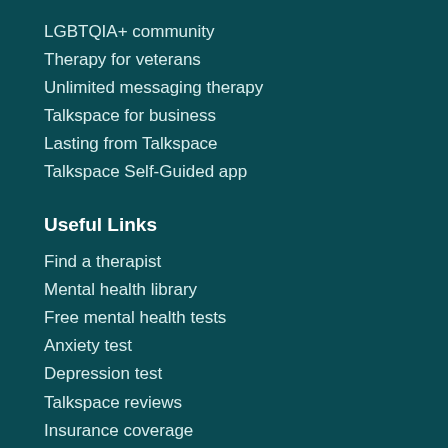LGBTQIA+ community
Therapy for veterans
Unlimited messaging therapy
Talkspace for business
Lasting from Talkspace
Talkspace Self-Guided app
Useful Links
Find a therapist
Mental health library
Free mental health tests
Anxiety test
Depression test
Talkspace reviews
Insurance coverage
Alexa skill
About
Blog